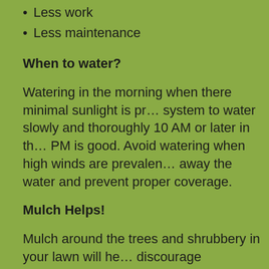Less work
Less maintenance
When to water?
Watering in the morning when there minimal sunlight is preferred. Use a drip system to water slowly and thoroughly 10 AM or later in the day until about 4 PM is good. Avoid watering when high winds are prevalent, which will blow away the water and prevent proper coverage.
Mulch Helps!
Mulch around the trees and shrubbery in your lawn will help retain water and discourage evaporation. Proper mulching will also minimize weeds and add nutrients to your soil. Add more mulch once it begins to break down.
How Much Water?
Don't over water or under water your lawn. Over watering will increase your water bill. Under watering will evaporate and...